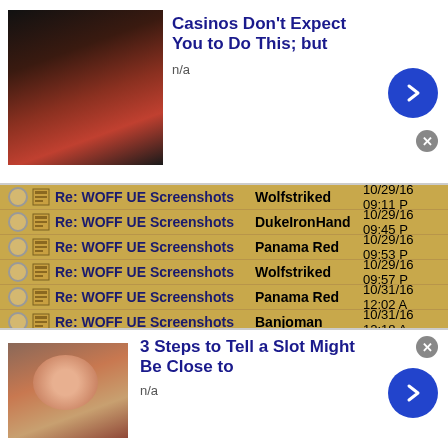[Figure (screenshot): Advertisement banner: woman in black jacket, title 'Casinos Don't Expect You to Do This; but', subtitle 'n/a', blue arrow button, close button]
Re: WOFF UE Screenshots | Wolfstriked | 10/29/16 09:11 PM
Re: WOFF UE Screenshots | DukeIronHand | 10/29/16 09:45 PM
Re: WOFF UE Screenshots | Panama Red | 10/29/16 09:53 PM
Re: WOFF UE Screenshots | Wolfstriked | 10/29/16 09:57 PM
Re: WOFF UE Screenshots | Panama Red | 10/31/16 12:02 AM
Re: WOFF UE Screenshots | Banjoman | 10/31/16 12:18 AM
Re: WOFF UE Screenshots | DukeIronHand | 10/31/16 12:49 AM
Re: WOFF UE Screenshots | RAF_Louvert | 10/31/16 12:38 PM
Re: WOFF UE Screenshots | Polovski | 10/31/16 02:14 PM
[Figure (screenshot): Advertisement banner: older man smiling, title '3 Steps to Tell a Slot Might Be Close to', subtitle 'n/a', blue arrow button, close button]